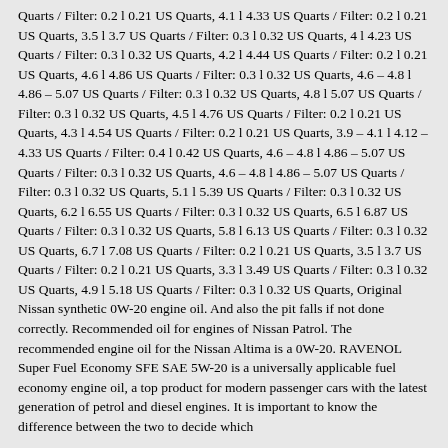Quarts / Filter: 0.2 l 0.21 US Quarts, 4.1 l 4.33 US Quarts / Filter: 0.2 l 0.21 US Quarts, 3.5 l 3.7 US Quarts / Filter: 0.3 l 0.32 US Quarts, 4 l 4.23 US Quarts / Filter: 0.3 l 0.32 US Quarts, 4.2 l 4.44 US Quarts / Filter: 0.2 l 0.21 US Quarts, 4.6 l 4.86 US Quarts / Filter: 0.3 l 0.32 US Quarts, 4.6 – 4.8 l 4.86 – 5.07 US Quarts / Filter: 0.3 l 0.32 US Quarts, 4.8 l 5.07 US Quarts / Filter: 0.3 l 0.32 US Quarts, 4.5 l 4.76 US Quarts / Filter: 0.2 l 0.21 US Quarts, 4.3 l 4.54 US Quarts / Filter: 0.2 l 0.21 US Quarts, 3.9 – 4.1 l 4.12 – 4.33 US Quarts / Filter: 0.4 l 0.42 US Quarts, 4.6 – 4.8 l 4.86 – 5.07 US Quarts / Filter: 0.3 l 0.32 US Quarts, 4.6 – 4.8 l 4.86 – 5.07 US Quarts / Filter: 0.3 l 0.32 US Quarts, 5.1 l 5.39 US Quarts / Filter: 0.3 l 0.32 US Quarts, 6.2 l 6.55 US Quarts / Filter: 0.3 l 0.32 US Quarts, 6.5 l 6.87 US Quarts / Filter: 0.3 l 0.32 US Quarts, 5.8 l 6.13 US Quarts / Filter: 0.3 l 0.32 US Quarts, 6.7 l 7.08 US Quarts / Filter: 0.2 l 0.21 US Quarts, 3.5 l 3.7 US Quarts / Filter: 0.2 l 0.21 US Quarts, 3.3 l 3.49 US Quarts / Filter: 0.3 l 0.32 US Quarts, 4.9 l 5.18 US Quarts / Filter: 0.3 l 0.32 US Quarts, Original Nissan synthetic 0W-20 engine oil. And also the pit falls if not done correctly. Recommended oil for engines of Nissan Patrol. The recommended engine oil for the Nissan Altima is a 0W-20. RAVENOL Super Fuel Economy SFE SAE 5W-20 is a universally applicable fuel economy engine oil, a top product for modern passenger cars with the latest generation of petrol and diesel engines. It is important to know the difference between the two to decide which